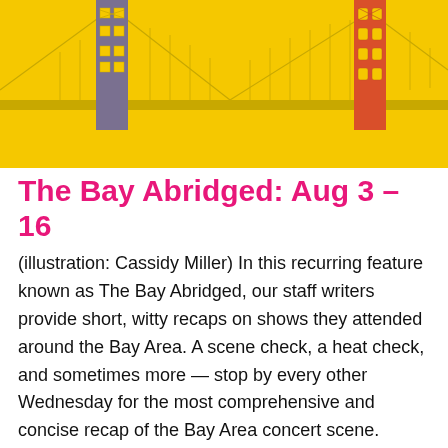[Figure (illustration): Illustrated Golden Gate Bridge on a bright yellow background. Left tower is gray/purple, right tower is orange-red. Cable lines span across. Bridge roadway is visible in the middle.]
The Bay Abridged: Aug 3 – 16
(illustration: Cassidy Miller) In this recurring feature known as The Bay Abridged, our staff writers provide short, witty recaps on shows they attended around the Bay Area. A scene check, a heat check, and sometimes more — stop by every other Wednesday for the most comprehensive and concise recap of the Bay Area concert scene. Bryan Ferry, LP at The Masonic (SF) Aug. 9. Bryan Ferry and his ensemble came out like a steamroller. They leapt into a set that included deep